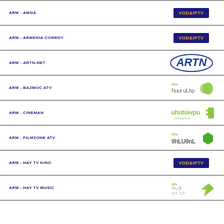ARM - AMGA
[Figure (logo): VOD&IPTV logo - dark blue background with orange text]
ARM - ARMENIA COMEDY
[Figure (logo): VOD&IPTV logo - dark blue background with orange text]
ARM - ARTN-NET
[Figure (logo): ARTN logo - blue oval outline with bold italic text]
ARM - BAZMOC ATV
[Figure (logo): ATV Bazmoc logo in Armenian script with green leaf]
ARM - CINEMAN
[Figure (logo): Cineman Armenia logo in Armenian script green]
ARM - FILMZONE ATV
[Figure (logo): ATV Filmzone logo in Armenian script with green hexagon]
ARM - HAY TV KINO
[Figure (logo): VOD&IPTV logo - dark blue background with orange text]
ARM - HAY TV MUSIC
[Figure (logo): ATV TV Star logo mirrored with green star]